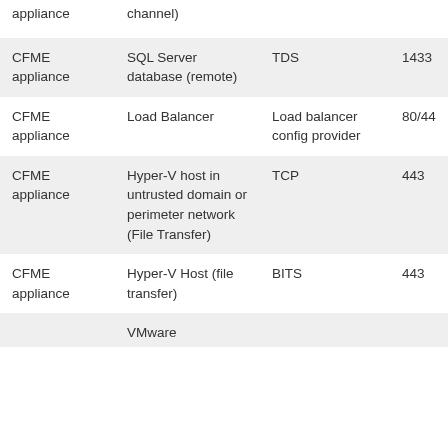| Source | Destination | Protocol | Port |
| --- | --- | --- | --- |
| appliance | channel) |  |  |
| CFME appliance | SQL Server database (remote) | TDS | 1433 |
| CFME appliance | Load Balancer | Load balancer config provider | 80/44 |
| CFME appliance | Hyper-V host in untrusted domain or perimeter network (File Transfer) | TCP | 443 |
| CFME appliance | Hyper-V Host (file transfer) | BITS | 443 |
|  | VMware |  |  |